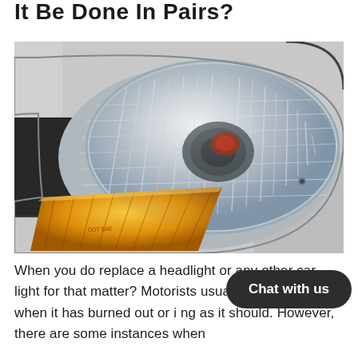It Be Done In Pairs?
[Figure (photo): Close-up photograph of a car headlight assembly on a silver/white vehicle, showing the main headlight lens with chrome reflectors and an amber turn signal light at the bottom left corner.]
When you do replace a headlight or any other car light for that matter? Motorists usually de e light only when it has burned out or i ng as it should. However, there are some instances when